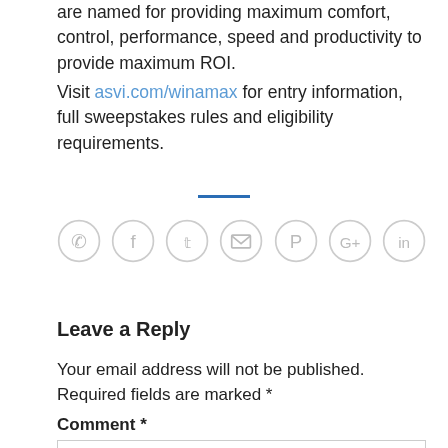are named for providing maximum comfort, control, performance, speed and productivity to provide maximum ROI.
Visit asvi.com/winamax for entry information, full sweepstakes rules and eligibility requirements.
[Figure (other): Horizontal blue divider line]
[Figure (infographic): Row of 7 social media icon circles: phone, facebook, twitter, email, pinterest, google+, linkedin]
Leave a Reply
Your email address will not be published. Required fields are marked *
Comment *